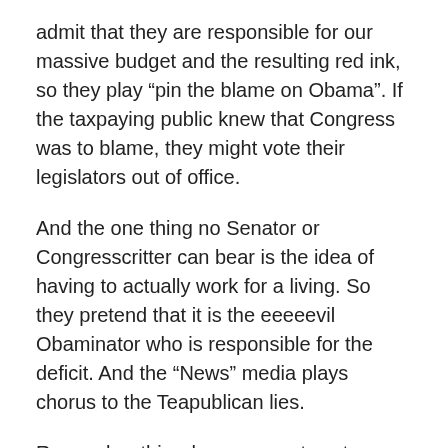admit that they are responsible for our massive budget and the resulting red ink, so they play “pin the blame on Obama”. If the taxpaying public knew that Congress was to blame, they might vote their legislators out of office.
And the one thing no Senator or Congresscritter can bear is the idea of having to actually work for a living. So they pretend that it is the eeeeevil Obaminator who is responsible for the deficit. And the “News” media plays chorus to the Teapublican lies.
Remember this when you next cast your ballot. Congress owns the budget, the deficit and the debt. It’s time for those lazy, cowardly millionaires on Capitol Hill to nut up and accept responsibility for their actions, and to stop lying to us about who is to blame for the consequences of said actions.